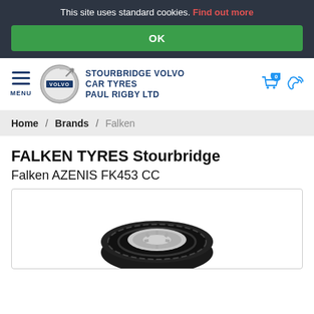This site uses standard cookies. Find out more
OK
[Figure (logo): Stourbridge Volvo Car Tyres Paul Rigby Ltd logo with Volvo circle badge and site name]
Home / Brands / Falken
FALKEN TYRES Stourbridge
Falken AZENIS FK453 CC
[Figure (photo): Falken AZENIS FK453 CC tyre product image, shown from a 3/4 angle]